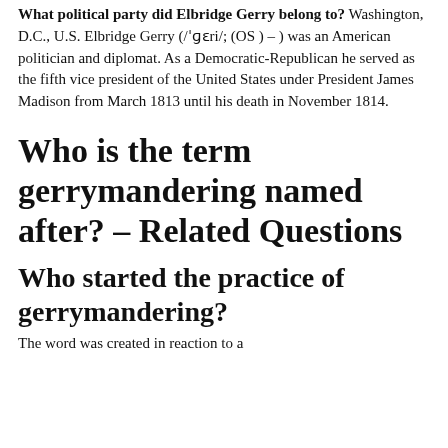What political party did Elbridge Gerry belong to? Washington, D.C., U.S. Elbridge Gerry (/ˈɡɛri/; (OS ) – ) was an American politician and diplomat. As a Democratic-Republican he served as the fifth vice president of the United States under President James Madison from March 1813 until his death in November 1814.
Who is the term gerrymandering named after? – Related Questions
Who started the practice of gerrymandering?
The word was created in reaction to a